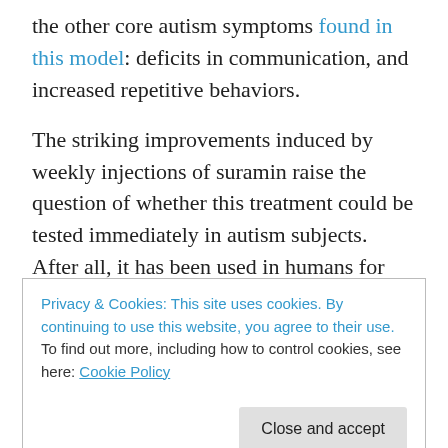the other core autism symptoms found in this model: deficits in communication, and increased repetitive behaviors.
The striking improvements induced by weekly injections of suramin raise the question of whether this treatment could be tested immediately in autism subjects. After all, it has been used in humans for another purpose for decades. However, Naviaux has issued this declaration in response to that question: “Suramin is not suitable for long-term treatment of children with autism because of the potential
Privacy & Cookies: This site uses cookies. By continuing to use this website, you agree to their use.
To find out more, including how to control cookies, see here: Cookie Policy
development of newer and safer drugs. Neither Dr